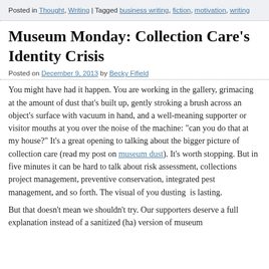Posted in Thought, Writing | Tagged business writing, fiction, motivation, writing
Museum Monday: Collection Care's Identity Crisis
Posted on December 9, 2013 by Becky Fifield
You might have had it happen. You are working in the gallery, grimacing at the amount of dust that’s built up, gently stroking a brush across an object’s surface with vacuum in hand, and a well-meaning supporter or visitor mouths at you over the noise of the machine: “can you do that at my house?” It’s a great opening to talking about the bigger picture of collection care (read my post on museum dust). It’s worth stopping. But in five minutes it can be hard to talk about risk assessment, collections project management, preventive conservation, integrated pest management, and so forth. The visual of you dusting  is lasting.
But that doesn’t mean we shouldn’t try. Our supporters deserve a full explanation instead of a sanitized (ha) version of museum work. They want to see under the hood, the nuts and bolts, of what it is we do.